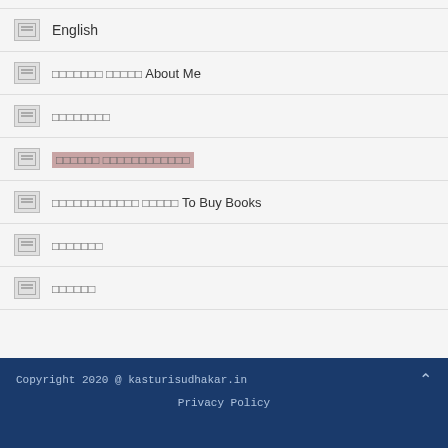English
□□□□□□□ □□□□□ About Me
□□□□□□□□
□□□□□□ □□□□□□□□□□□□
□□□□□□□□□□□□ □□□□□ To Buy Books
□□□□□□□
□□□□□□
Copyright 2020 @ kasturisudhakar.in  Privacy Policy